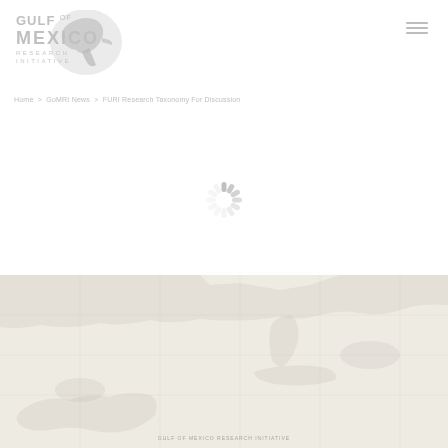[Figure (logo): Gulf of Mexico Research Initiative logo with pelican silhouette]
Home > GoMRI News > FURI Research Taxonomy For Discussion
[Figure (other): Loading spinner animation indicator]
[Figure (map): Gulf of Mexico map or satellite image loading placeholder]